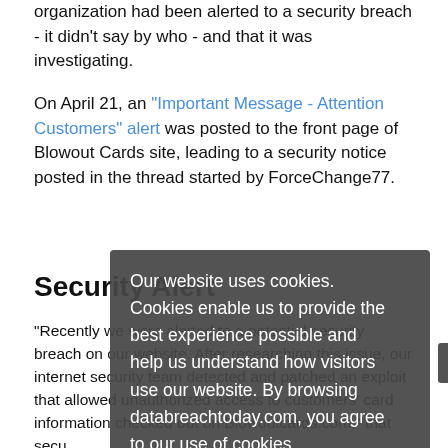organization had been alerted to a security breach - it didn't say by who - and that it was investigating.
On April 21, an "Important Message - Attention Customers" alert was posted to the front page of Blowout Cards site, leading to a security notice posted in the thread started by ForceChange77.
Security Alert
"Recently we were alerted to a potential security breach on our website. After researching this issue, our internet security team detected and patched an exploit that allowed unauthorized access to customers' card information checked out on Blowoutcards.com," that secu...
"We are currently in contact with several leading third-party security firms to determine the cause of the breach and
Our website uses cookies. Cookies enable us to provide the best experience possible and help us understand how visitors use our website. By browsing databreachtoday.com, you agree to our use of cookies.